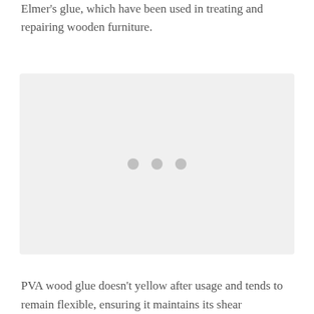Elmer's glue, which have been used in treating and repairing wooden furniture.
[Figure (photo): A light gray placeholder image box with three gray dots in the center indicating an image loading or placeholder state.]
PVA wood glue doesn't yellow after usage and tends to remain flexible, ensuring it maintains its shear